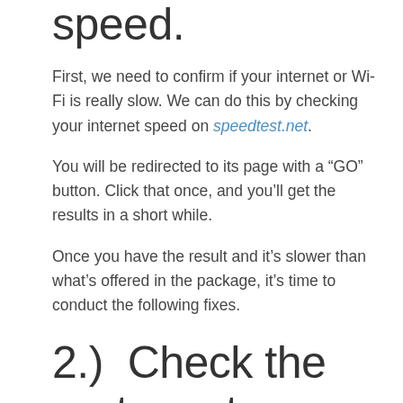speed.
First, we need to confirm if your internet or Wi-Fi is really slow. We can do this by checking your internet speed on speedtest.net.
You will be redirected to its page with a “GO” button. Click that once, and you’ll get the results in a short while.
Once you have the result and it’s slower than what’s offered in the package, it’s time to conduct the following fixes.
2.)  Check the router setup condition and restart it if necessary.